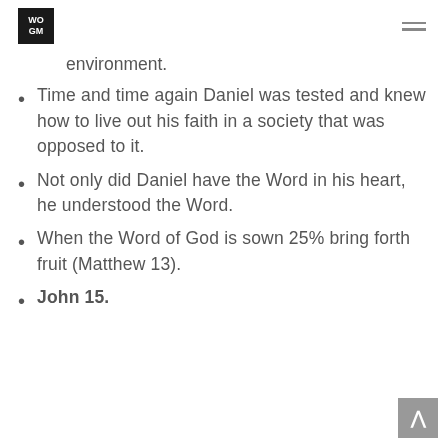WOGM
Daniel was raised in a biblical environment.
Time and time again Daniel was tested and knew how to live out his faith in a society that was opposed to it.
Not only did Daniel have the Word in his heart, he understood the Word.
When the Word of God is sown 25% bring forth fruit (Matthew 13).
John 15.